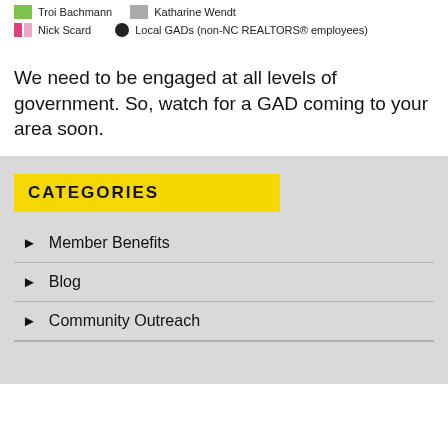[Figure (other): Legend showing: Troi Bachmann (green swatch), Katharine Wendt (gray swatch), Nick Scard (pink swatch), Local GADs (non-NC REALTORS® employees) (black circle)]
We need to be engaged at all levels of government. So, watch for a GAD coming to your area soon.
CATEGORIES
Member Benefits
Blog
Community Outreach